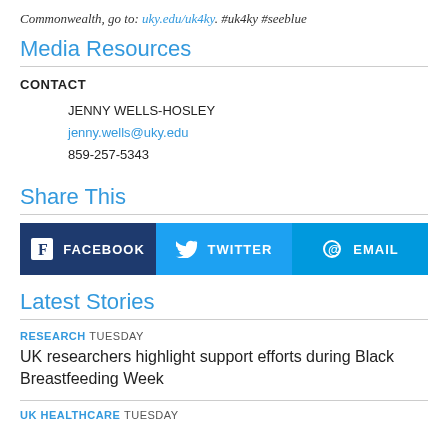Commonwealth, go to: uky.edu/uk4ky. #uk4ky #seeblue
Media Resources
CONTACT
JENNY WELLS-HOSLEY
jenny.wells@uky.edu
859-257-5343
Share This
[Figure (infographic): Three share buttons: Facebook, Twitter, Email]
Latest Stories
RESEARCH Tuesday
UK researchers highlight support efforts during Black Breastfeeding Week
UK HEALTHCARE Tuesday